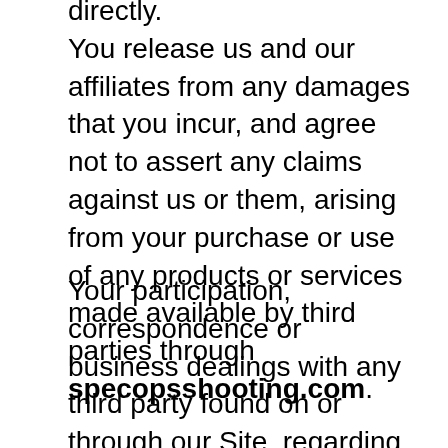directly. You release us and our affiliates from any damages that you incur, and agree not to assert any claims against us or them, arising from your purchase or use of any products or services made available by third parties through specopsshooting.com.
Your participation, correspondence or business dealings with any third party found on or through our Site, regarding payment and delivery of specific goods and services, and any other terms, conditions, representations or warranties associated with such dealings, are solely between you